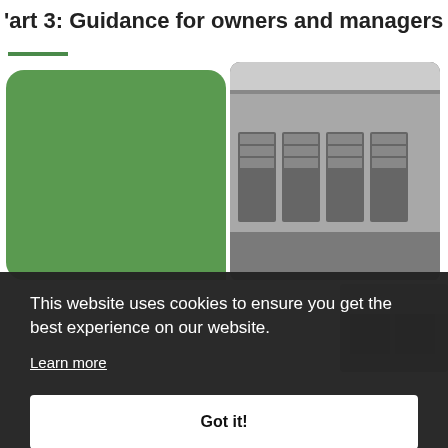Part 3: Guidance for owners and managers
[Figure (photo): Green rounded rectangle box on left, and a black-and-white photo of an industrial building exterior with multiple garage-style doors on right]
[Figure (photo): Partial black-and-white photo of a building exterior, bottom right]
This website uses cookies to ensure you get the best experience on our website.
Learn more
Got it!
powered